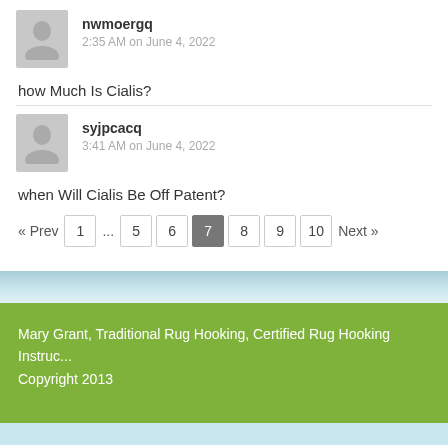nwmoergq
2:35 AM on June 4, 2022
how Much Is Cialis?
syjpcacq
3:41 AM on June 4, 2022
when Will Cialis Be Off Patent?
« Prev  1  ...  5  6  7  8  9  10  Next »
Mary Grant, Traditional Rug Hooking,  Certified Rug Hooking Instruct... Copyright 2013